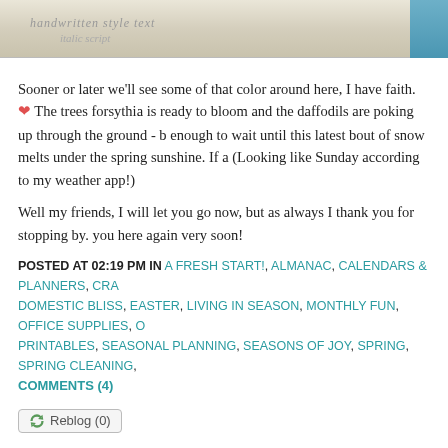[Figure (photo): Top partial image of what appears to be a handwritten card or stationery with yellow/cream background and teal accent on right edge]
Sooner or later we'll see some of that color around here, I have faith. ❤ The trees forsythia is ready to bloom and the daffodils are poking up through the ground - b enough to wait until this latest bout of snow melts under the spring sunshine. If a (Looking like Sunday according to my weather app!)
Well my friends, I will let you go now, but as always I thank you for stopping by. you here again very soon!
POSTED AT 02:19 PM IN A FRESH START!, ALMANAC, CALENDARS & PLANNERS, CRA DOMESTIC BLISS, EASTER, LIVING IN SEASON, MONTHLY FUN, OFFICE SUPPLIES, O PRINTABLES, SEASONAL PLANNING, SEASONS OF JOY, SPRING, SPRING CLEANING, COMMENTS (4)
Reblog (0)
FEBRUARY 27, 2017
My March Planner ... with printable links! ♥
[Figure (photo): Bottom image showing a planner or journal with floral fabric/paper featuring violets and green leaves on a white background]